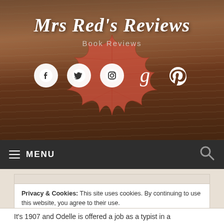[Figure (screenshot): Website header hero image with autumn leaf on book pages background, site title Mrs Red's Reviews, subtitle Book Reviews, and five social media icons (Facebook, Twitter, Instagram, Goodreads, Pinterest) in white circles]
Mrs Red's Reviews
Book Reviews
≡ MENU
Privacy & Cookies: This site uses cookies. By continuing to use this website, you agree to their use.
To find out more, including how to control cookies, see here: Cookie Policy
Close and accept
It's 1907 and Odelle is offered a job as a typist in a